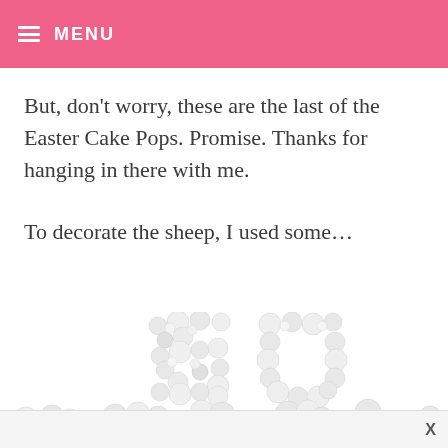MENU
But, don't worry, these are the last of the Easter Cake Pops. Promise. Thanks for hanging in there with me.
To decorate the sheep, I used some...
[Figure (photo): White pearl/ball sprinkles arranged to spell out letters 'SU' in the upper portion and 'PEARLS' partially visible in lower portion, on a white background]